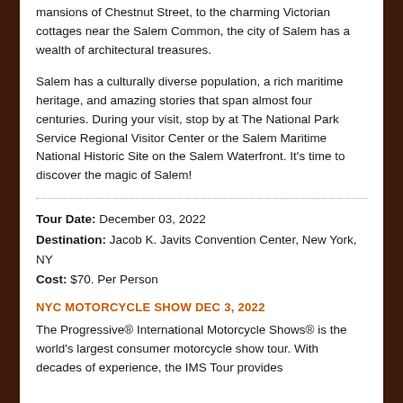mansions of Chestnut Street, to the charming Victorian cottages near the Salem Common, the city of Salem has a wealth of architectural treasures.
Salem has a culturally diverse population, a rich maritime heritage, and amazing stories that span almost four centuries. During your visit, stop by at The National Park Service Regional Visitor Center or the Salem Maritime National Historic Site on the Salem Waterfront. It's time to discover the magic of Salem!
Tour Date: December 03, 2022
Destination: Jacob K. Javits Convention Center, New York, NY
Cost: $70. Per Person
NYC MOTORCYCLE SHOW DEC 3, 2022
The Progressive® International Motorcycle Shows® is the world's largest consumer motorcycle show tour. With decades of experience, the IMS Tour provides